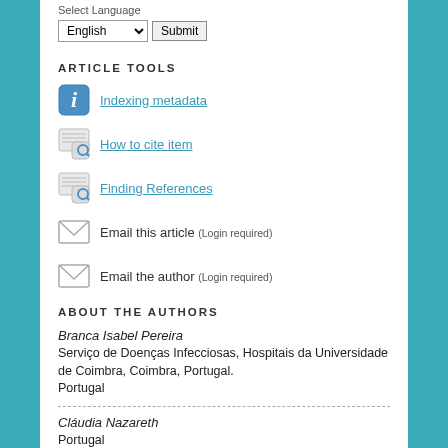Select Language
ARTICLE TOOLS
Indexing metadata
How to cite item
Finding References
Email this article (Login required)
Email the author (Login required)
ABOUT THE AUTHORS
Branca Isabel Pereira
Serviço de Doenças Infecciosas, Hospitais da Universidade de Coimbra, Coimbra, Portugal.
Portugal
Cláudia Nazareth
Portugal
Lurdes Malcata
Portugal
Helena Alves
Portugal